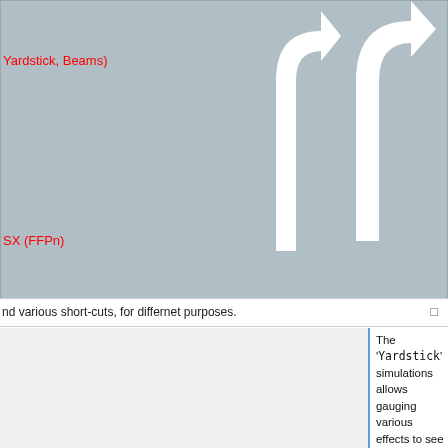[Figure (flowchart): Diagram showing workflow with two arrows curving upward on a grey background. Red labels 'Yardstick, Beams)' and 'SX (FFPn)' are visible on the left side of the diagram.]
nd various short-cuts, for differnet purposes.
The 'Yardstick' simulations allows gauging various effects to see whether they need be included in monte-carlo to describe data. It also allows gauging the significance of validation tests on data (e.g. can null test can be described by the model?). They are completed by dedicated 'Desire' simulations (Desire stands for DEtector SImulated REsponse), as well as Monte-Carlo simulations of the Beams determination to determine their uncertainty.